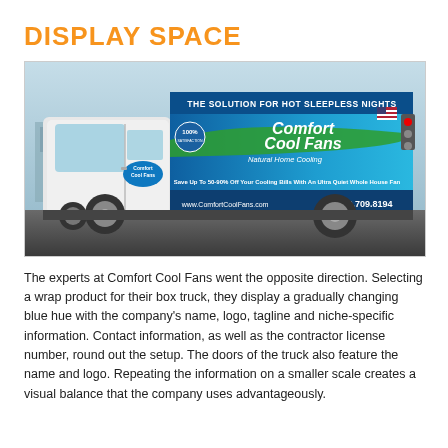DISPLAY SPACE
[Figure (photo): A Comfort Cool Fans branded box truck with full vehicle wrap. The wrap features a blue gradient background with white text reading 'THE SOLUTION FOR HOT SLEEPLESS NIGHTS', the Comfort Cool Fans logo, tagline 'Natural Home Cooling', 'Save Up To 50-90% Off Your Cooling Bills With An Ultra Quiet Whole House Fan', website www.ComfortCoolFans.com, phone number 949.709.8194, and a small American flag logo. The truck cab/door area also shows smaller Comfort Cool Fans branding.]
The experts at Comfort Cool Fans went the opposite direction. Selecting a wrap product for their box truck, they display a gradually changing blue hue with the company’s name, logo, tagline and niche-specific information. Contact information, as well as the contractor license number, round out the setup. The doors of the truck also feature the name and logo. Repeating the information on a smaller scale creates a visual balance that the company uses advantageously.